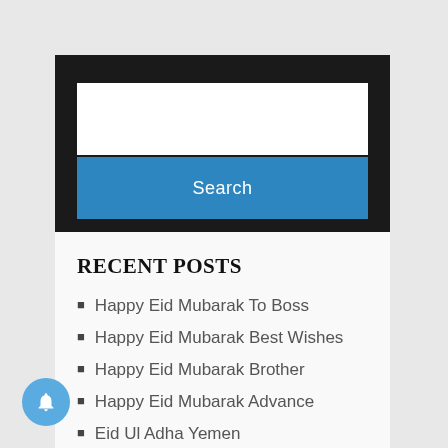[Figure (screenshot): Search widget with white text input box and blue Search button on dark background]
RECENT POSTS
Happy Eid Mubarak To Boss
Happy Eid Mubarak Best Wishes
Happy Eid Mubarak Brother
Happy Eid Mubarak Advance
Eid Ul Adha Yemen